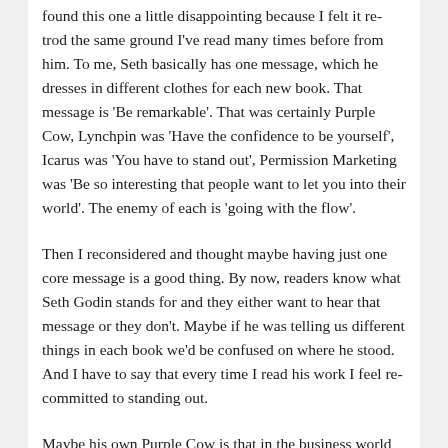found this one a little disappointing because I felt it re-trod the same ground I've read many times before from him. To me, Seth basically has one message, which he dresses in different clothes for each new book. That message is 'Be remarkable'. That was certainly Purple Cow, Lynchpin was 'Have the confidence to be yourself', Icarus was 'You have to stand out', Permission Marketing was 'Be so interesting that people want to let you into their world'. The enemy of each is 'going with the flow'.
Then I reconsidered and thought maybe having just one core message is a good thing. By now, readers know what Seth Godin stands for and they either want to hear that message or they don't. Maybe if he was telling us different things in each book we'd be confused on where he stood. And I have to say that every time I read his work I feel re-committed to standing out.
Maybe his own Purple Cow is that in the business world he's come to own that 'Make yourself memorable' message. In a few years my own children will be of career seeking age. What a great message to give them.